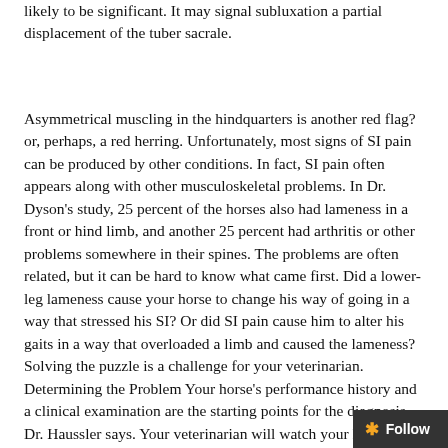likely to be significant. It may signal subluxation a partial displacement of the tuber sacrale.
Asymmetrical muscling in the hindquarters is another red flag?or, perhaps, a red herring. Unfortunately, most signs of SI pain can be produced by other conditions. In fact, SI pain often appears along with other musculoskeletal problems. In Dr. Dyson's study, 25 percent of the horses also had lameness in a front or hind limb, and another 25 percent had arthritis or other problems somewhere in their spines. The problems are often related, but it can be hard to know what came first. Did a lower-leg lameness cause your horse to change his way of going in a way that stressed his SI? Or did SI pain cause him to alter his gaits in a way that overloaded a limb and caused the lameness? Solving the puzzle is a challenge for your veterinarian. Determining the Problem Your horse's performance history and a clinical examination are the starting points for the diagnosis, Dr. Haussler says. Your veterinarian will watch your horse in motion and